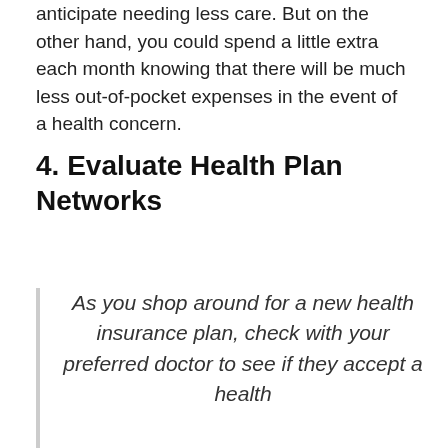anticipate needing less care. But on the other hand, you could spend a little extra each month knowing that there will be much less out-of-pocket expenses in the event of a health concern.
4. Evaluate Health Plan Networks
As you shop around for a new health insurance plan, check with your preferred doctor to see if they accept a health